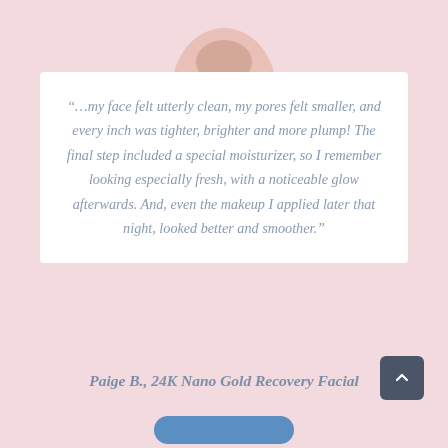[Figure (photo): Partial view of a person's face/neck at the top of the page against a pink background]
“…my face felt utterly clean, my pores felt smaller, and every inch was tighter, brighter and more plump! The final step included a special moisturizer, so I remember looking especially fresh, with a noticeable glow afterwards. And, even the makeup I applied later that night, looked better and smoother.”
Paige B., 24K Nano Gold Recovery Facial